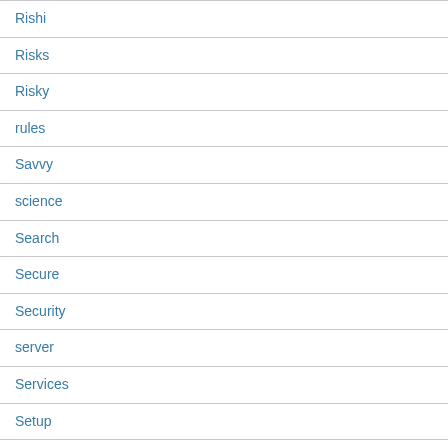Rishi
Risks
Risky
rules
Savvy
science
Search
Secure
Security
server
Services
Setup
Seven
Shabtai
Shopify